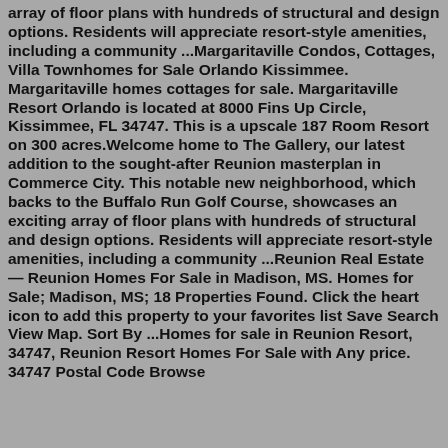array of floor plans with hundreds of structural and design options. Residents will appreciate resort-style amenities, including a community ...Margaritaville Condos, Cottages, Villa Townhomes for Sale Orlando Kissimmee. Margaritaville homes cottages for sale. Margaritaville Resort Orlando is located at 8000 Fins Up Circle, Kissimmee, FL 34747. This is a upscale 187 Room Resort on 300 acres.Welcome home to The Gallery, our latest addition to the sought-after Reunion masterplan in Commerce City. This notable new neighborhood, which backs to the Buffalo Run Golf Course, showcases an exciting array of floor plans with hundreds of structural and design options. Residents will appreciate resort-style amenities, including a community ...Reunion Real Estate — Reunion Homes For Sale in Madison, MS. Homes for Sale; Madison, MS; 18 Properties Found. Click the heart icon to add this property to your favorites list Save Search View Map. Sort By ...Homes for sale in Reunion Resort, 34747, Reunion Resort Homes For Sale with Any price. 34747 Postal Code Browse